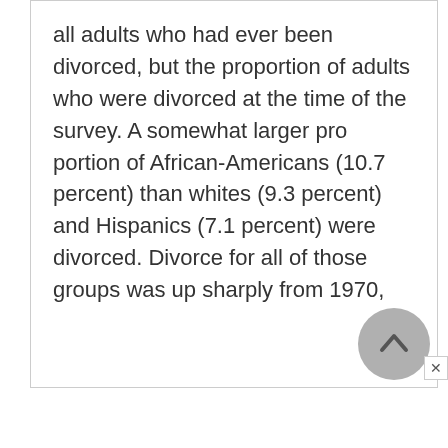all adults who had ever been divorced, but the proportion of adults who were divorced at the time of the survey. A somewhat larger pro portion of African-Americans (10.7 percent) than whites (9.3 percent) and Hispanics (7.1 percent) were divorced. Divorce for all of those groups was up sharply from 1970,